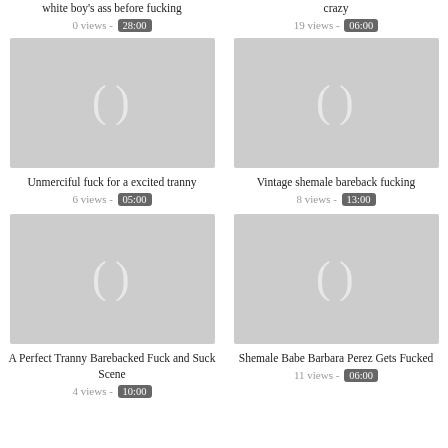white boy's ass before fucking
crazy
0 views - 28:00
19 views - 06:00
[Figure (photo): Video thumbnail placeholder - grey box with parenthesis icon]
Unmerciful fuck for a excited tranny
6 views - 05:00
[Figure (photo): Video thumbnail placeholder - grey box with parenthesis icon]
Vintage shemale bareback fucking
8 views - 13:00
[Figure (photo): Video thumbnail placeholder - grey box with parenthesis icon]
A Perfect Tranny Barebacked Fuck and Suck Scene
4 views - 10:00
[Figure (photo): Video thumbnail placeholder - grey box with parenthesis icon]
Shemale Babe Barbara Perez Gets Fucked
11 views - 06:00